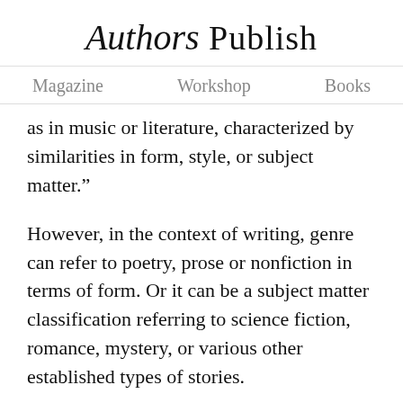Authors Publish
Magazine   Workshop   Books
as in music or literature, characterized by similarities in form, style, or subject matter.”
However, in the context of writing, genre can refer to poetry, prose or nonfiction in terms of form. Or it can be a subject matter classification referring to science fiction, romance, mystery, or various other established types of stories.
Most literary journals assume that you will